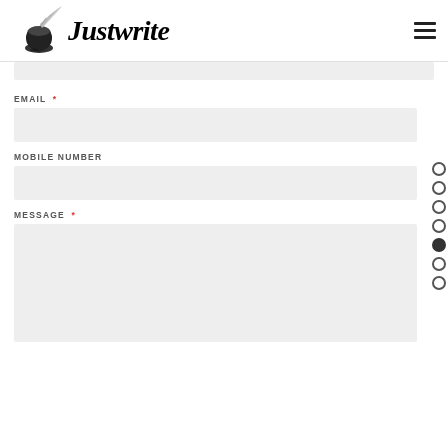Justwrite — navigation header with logo and hamburger menu
EMAIL *
MOBILE NUMBER
MESSAGE *